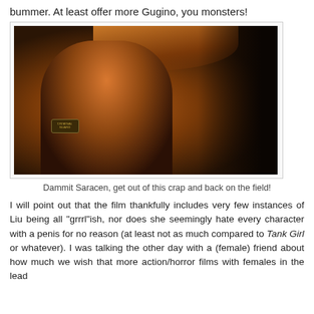bummer. At least offer more Gugino, you monsters!
[Figure (photo): A young man in a dark naval uniform with a patch reading 'Criminal Squad' on the sleeve, looking upward in dim warm lighting, with his hand raised near his head.]
Dammit Saracen, get out of this crap and back on the field!
I will point out that the film thankfully includes very few instances of Liu being all "grrrl"ish, nor does she seemingly hate every character with a penis for no reason (at least not as much compared to Tank Girl or whatever). I was talking the other day with a (female) friend about how much we wish that more action/horror films with females in the lead